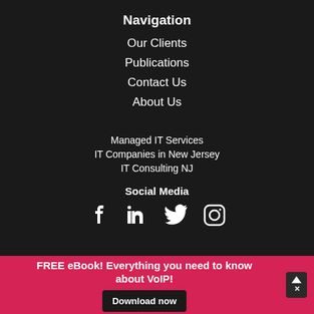Navigation
Our Clients
Publications
Contact Us
About Us
Managed IT Services
IT Companies in New Jersey
IT Consulting NJ
Social Media
[Figure (infographic): Social media icons: Facebook, LinkedIn, Twitter, Instagram]
FREE eBook! Everything you need to know about VoIP! Download now